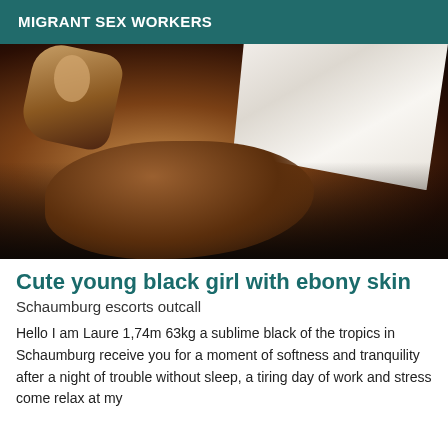MIGRANT SEX WORKERS
[Figure (photo): Close-up photo of a Black woman wearing a white dress/garment, with dark background]
Cute young black girl with ebony skin
Schaumburg escorts outcall
Hello I am Laure 1,74m 63kg a sublime black of the tropics in Schaumburg receive you for a moment of softness and tranquility after a night of trouble without sleep, a tiring day of work and stress come relax at my